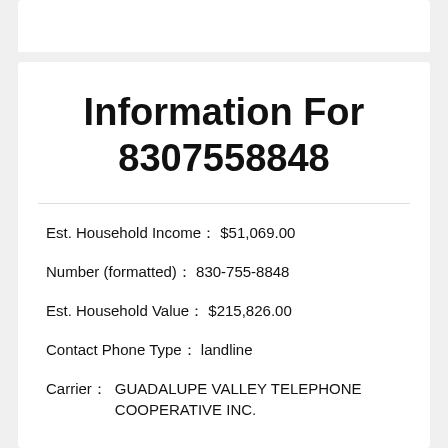Information For 8307558848
Est. Household Income：  $51,069.00
Number (formatted)：  830-755-8848
Est. Household Value：  $215,826.00
Contact Phone Type：  landline
Carrier：  GUADALUPE VALLEY TELEPHONE COOPERATIVE INC.